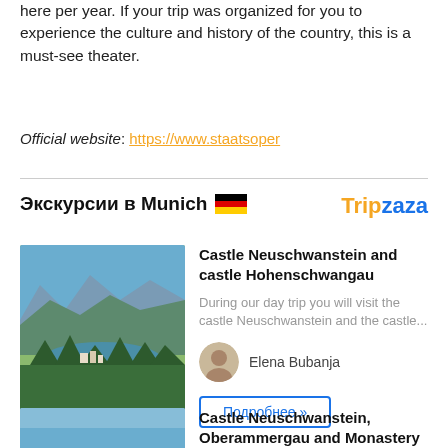here per year. If your trip was organized for you to experience the culture and history of the country, this is a must-see theater.
Official website: https://www.staatsoper
Экскурсии в Munich 🇩🇪
Tripzaza
[Figure (photo): Aerial landscape photo of Neuschwanstein area with mountains, lake, and forested valleys]
Castle Neuschwanstein and castle Hohenschwangau
During our day trip you will visit the castle Neuschwanstein and the castle...
Elena Bubanja
Подробнее »
[Figure (photo): Partial view of a second card image with blue sky]
Castle Neuschwanstein, Oberammergau and Monastery